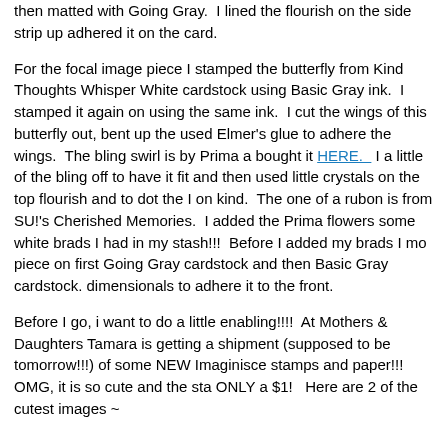then matted with Going Gray.  I lined the flourish on the side strip up adhered it on the card.
For the focal image piece I stamped the butterfly from Kind Thoughts Whisper White cardstock using Basic Gray ink.  I stamped it again on using the same ink.  I cut the wings of this butterfly out, bent up the used Elmer's glue to adhere the wings.  The bling swirl is by Prima and bought it HERE.   I a little of the bling off to have it fit and then used little crystals on the top flourish and to dot the I on kind.  The one of a rubon is from SU!'s Cherished Memories.  I added the Prima flowers some white brads I had in my stash!!!  Before I added my brads I mo piece on first Going Gray cardstock and then Basic Gray cardstock. dimensionals to adhere it to the front.
Before I go, i want to do a little enabling!!!!  At Mothers & Daughters Tamara is getting a shipment (supposed to be tomorrow!!!) of some NEW Imaginisce stamps and paper!!!  OMG, it is so cute and the sta ONLY a $1!   Here are 2 of the cutest images ~